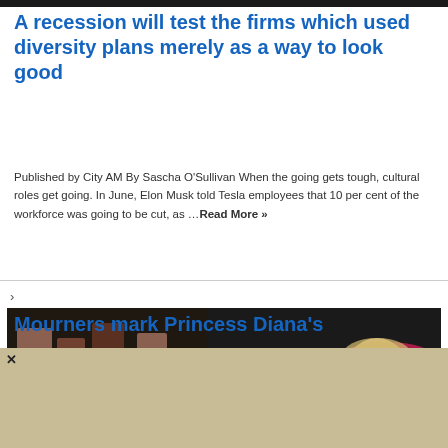[Figure (photo): Dark image strip at top of page]
A recession will test the firms which used diversity plans merely as a way to look good
Published by City AM By Sascha O'Sullivan When the going gets tough, cultural roles get going. In June, Elon Musk told Tesla employees that 10 per cent of the workforce was going to be cut, as ...Read More »
[Figure (photo): Memorial photo showing a '25' sign with pink floral wreaths and a photo of Princess Diana at a tribute location with flowers and mementos]
Mourners mark Princess Diana's